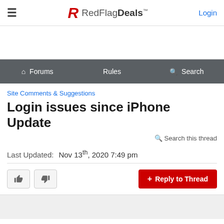RedFlagDeals™ | Login
[Figure (logo): RedFlagDeals logo with red R icon and text]
Forums | Rules | Search
Site Comments & Suggestions
Login issues since iPhone Update
Search this thread
Last Updated:  Nov 13th, 2020 7:49 pm
+ Reply to Thread